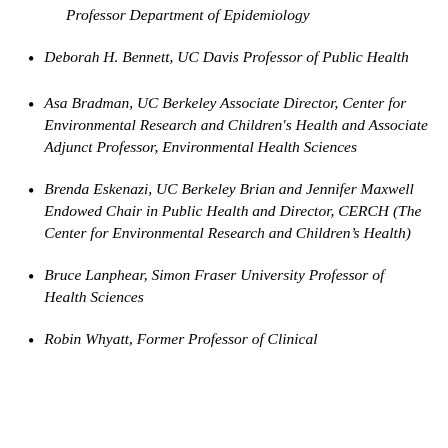Professor Department of Epidemiology
Deborah H. Bennett, UC Davis Professor of Public Health
Asa Bradman, UC Berkeley Associate Director, Center for Environmental Research and Children's Health and Associate Adjunct Professor, Environmental Health Sciences
Brenda Eskenazi, UC Berkeley Brian and Jennifer Maxwell Endowed Chair in Public Health and Director, CERCH (The Center for Environmental Research and Children's Health)
Bruce Lanphear, Simon Fraser University Professor of Health Sciences
Robin Whyatt, Former Professor of Clinical